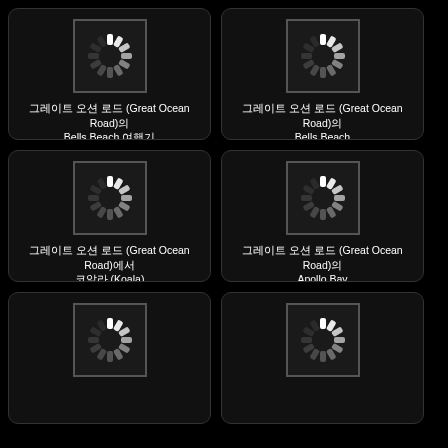[Figure (screenshot): Loading spinner icon with border]
그레이트 오션 로드(Great Ocean Road)의 벨스 비치 Bells Beach 여행기
[Figure (screenshot): Loading spinner icon with border]
그레이트 오션 로드(Great Ocean Road)의 벨스 비치 Bells Beach
[Figure (screenshot): Loading spinner icon with border]
그레이트 오션 로드(Great Ocean Road)에서 코알라 (Koala)
[Figure (screenshot): Loading spinner icon with border]
그레이트 오션 로드(Great Ocean Road)의 아폴로 베이 Apollo Bay
[Figure (screenshot): Loading spinner icon with border]
[Figure (screenshot): Loading spinner icon with border]